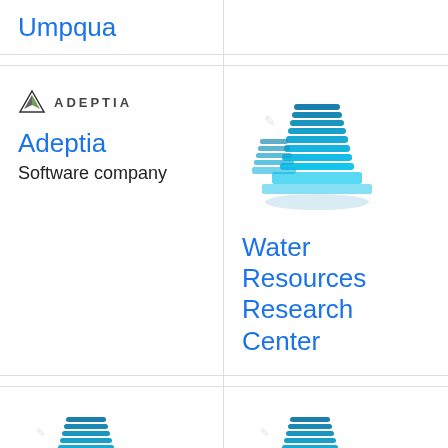Umpqua
[Figure (logo): Adeptia logo with triangle icon and ADEPTIA text]
Adeptia
Software company
[Figure (illustration): Building icon for Water Resources Research Center]
Water Resources Research Center
[Figure (illustration): Building icon for New Trier Township High School]
New Trier Township High School
[Figure (illustration): Building icon for Saint Michael's Playhouse]
Saint Michael's Playhouse